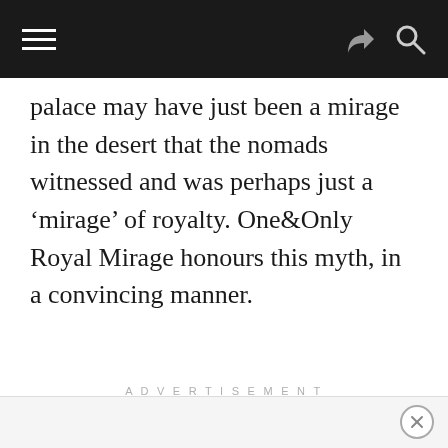palace may have just been a mirage in the desert that the nomads witnessed and was perhaps just a ‘mirage’ of royalty. One&Only Royal Mirage honours this myth, in a convincing manner.
ADVERTISEMENT